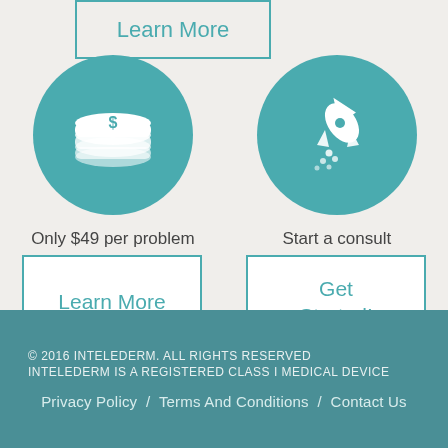[Figure (illustration): Teal circle icon with a dollar/money stack icon (white)]
[Figure (illustration): Teal circle icon with a rocket icon (white)]
Only $49 per problem
Start a consult
Learn More
Get Started!
© 2016 INTELEDERM. ALL RIGHTS RESERVED
INTELEDERM IS A REGISTERED CLASS I MEDICAL DEVICE
Privacy Policy  /  Terms And Conditions  /  Contact Us